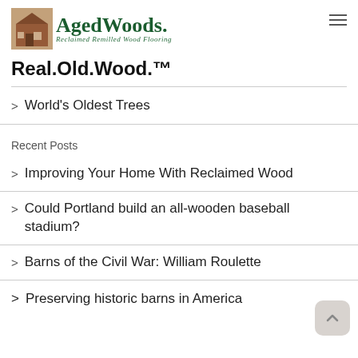[Figure (logo): Aged Woods logo with barn image and green text reading 'Aged Woods. Reclaimed Remilled Wood Flooring']
Real.Old.Wood.™
World's Oldest Trees
Recent Posts
Improving Your Home With Reclaimed Wood
Could Portland build an all-wooden baseball stadium?
Barns of the Civil War: William Roulette
Preserving historic barns in America